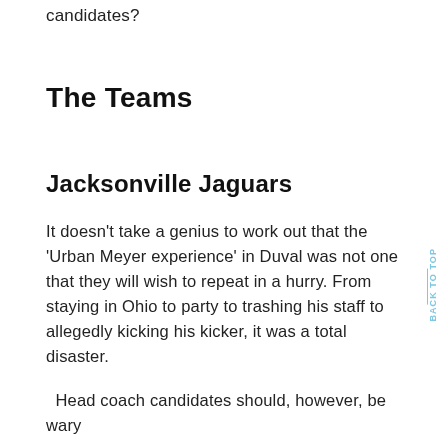candidates?
The Teams
Jacksonville Jaguars
It doesn't take a genius to work out that the 'Urban Meyer experience' in Duval was not one that they will wish to repeat in a hurry. From staying in Ohio to party to trashing his staff to allegedly kicking his kicker, it was a total disaster.
Head coach candidates should, however, be wary